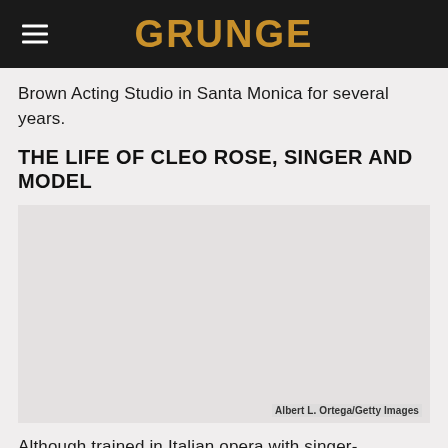GRUNGE
Brown Acting Studio in Santa Monica for several years.
THE LIFE OF CLEO ROSE, SINGER AND MODEL
[Figure (photo): Photo placeholder for Cleo Rose, with credit Albert L. Ortega/Getty Images]
Albert L. Ortega/Getty Images
Although trained in Italian opera with singer-songwriter